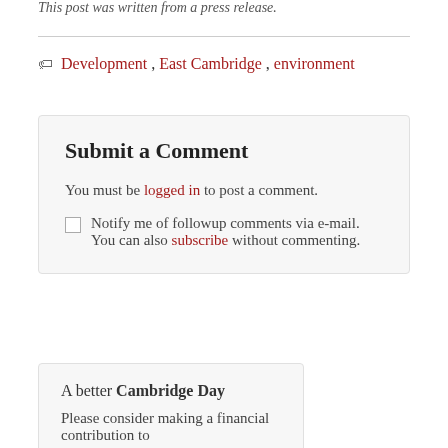This post was written from a press release.
Development, East Cambridge, environment
Submit a Comment
You must be logged in to post a comment.
Notify me of followup comments via e-mail. You can also subscribe without commenting.
A better Cambridge Day
Please consider making a financial contribution to